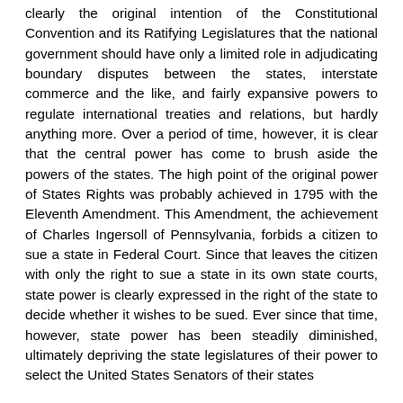clearly the original intention of the Constitutional Convention and its Ratifying Legislatures that the national government should have only a limited role in adjudicating boundary disputes between the states, interstate commerce and the like, and fairly expansive powers to regulate international treaties and relations, but hardly anything more. Over a period of time, however, it is clear that the central power has come to brush aside the powers of the states. The high point of the original power of States Rights was probably achieved in 1795 with the Eleventh Amendment. This Amendment, the achievement of Charles Ingersoll of Pennsylvania, forbids a citizen to sue a state in Federal Court. Since that leaves the citizen with only the right to sue a state in its own state courts, state power is clearly expressed in the right of the state to decide whether it wishes to be sued. Ever since that time, however, state power has been steadily diminished, ultimately depriving the state legislatures of their power to select the United States Senators of their states